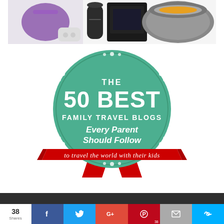[Figure (photo): Top section showing product images including a purple bag, Amazon Echo, and a slow cooker on white background]
[Figure (infographic): Green circular badge/award ribbon with red ribbon banner. Text reads: THE 50 BEST FAMILY TRAVEL BLOGS Every Parent Should Follow to travel the world with their kids]
[Figure (infographic): Social sharing bar at bottom showing: 38 Shares, Facebook, Twitter, Google+, Pinterest (38), Email, Bloglovin icons in colored buttons]